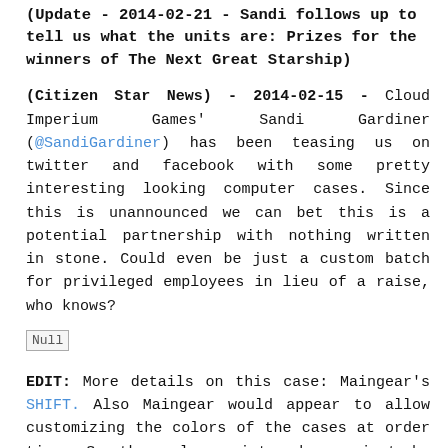(Update - 2014-02-21 - Sandi follows up to tell us what the units are: Prizes for the winners of The Next Great Starship)
(Citizen Star News) - 2014-02-15 - Cloud Imperium Games' Sandi Gardiner (@SandiGardiner) has been teasing us on twitter and facebook with some pretty interesting looking computer cases. Since this is unannounced we can bet this is a potential partnership with nothing written in stone. Could even be just a custom batch for privileged employees in lieu of a raise, who knows?
[Figure (other): Null image placeholder]
EDIT: More details on this case: Maingear's SHIFT. Also Maingear would appear to allow customizing the colors of the cases at order time. So the colors pictured may just be examples of your options.
UPDATE: During a follow up Sandi stated, "These 6